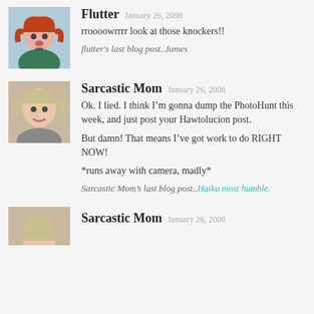[Figure (photo): Avatar photo of Flutter, a woman with red hair]
Flutter January 26, 2008
rroooowrrrr look at those knockers!!
flutter's last blog post..James
[Figure (photo): Avatar photo of Sarcastic Mom, a woman smiling]
Sarcastic Mom January 26, 2008
Ok. I lied. I think I'm gonna dump the PhotoHunt this week, and just post your Hawtolucion post.
But damn! That means I've got work to do RIGHT NOW!
*runs away with camera, madly*
Sarcastic Mom's last blog post..Haiku most humble.
[Figure (photo): Avatar photo of Sarcastic Mom, partially visible]
Sarcastic Mom January 26, 2008